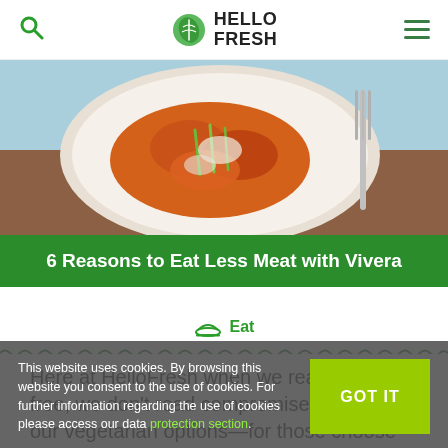HelloFresh (logo, search icon, hamburger menu)
[Figure (photo): Food photo showing a plate with meat-free dish topped with green onions on a light blue background]
6 Reasons to Eat Less Meat with Vivera
Eat
Here at HelloFresh when we read meat-free, we don't read compromise. That's why our vegetarian options—for those choose from on the menu each week, that are just (...)
This website uses cookies. By browsing this website you consent to the use of cookies. For further information regarding the use of cookies please access our data protection section.